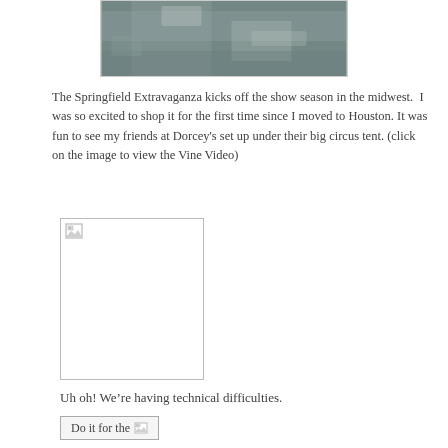[Figure (photo): Top portion of a textured stone or concrete surface image, partially visible at top of page]
The Springfield Extravaganza kicks off the show season in the midwest.  I was so excited to shop it for the first time since I moved to Houston. It was fun to see my friends at Dorcey's set up under their big circus tent. (click on the image to view the Vine Video)
[Figure (photo): Broken/missing image placeholder with small image icon in top-left corner]
Uh oh! We're having technical difficulties.
[Figure (other): Button reading 'Do it for the' followed by a small broken image icon]